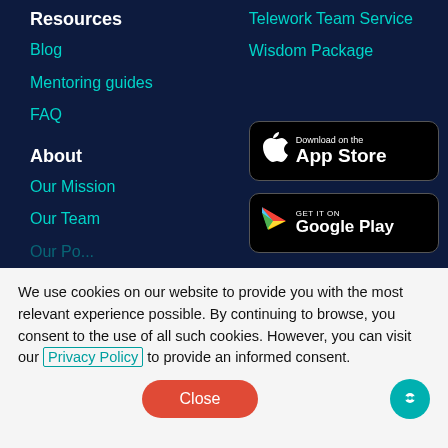Resources
Blog
Mentoring guides
FAQ
Telework Team Service
Wisdom Package
About
Our Mission
Our Team
[Figure (other): Download on the App Store badge]
[Figure (other): Get it on Google Play badge]
We use cookies on our website to provide you with the most relevant experience possible. By continuing to browse, you consent to the use of all such cookies. However, you can visit our Privacy Policy to provide an informed consent.
Close